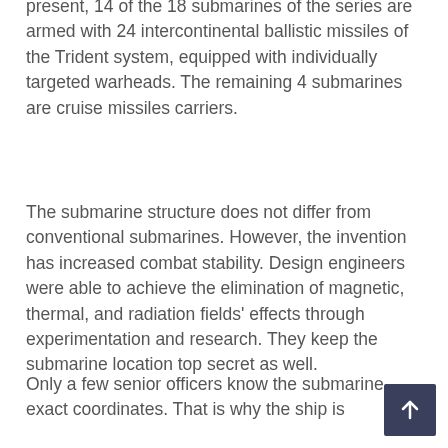present, 14 of the 18 submarines of the series are armed with 24 intercontinental ballistic missiles of the Trident system, equipped with individually targeted warheads. The remaining 4 submarines are cruise missiles carriers.
The submarine structure does not differ from conventional submarines. However, the invention has increased combat stability. Design engineers were able to achieve the elimination of magnetic, thermal, and radiation fields' effects through experimentation and research. They keep the submarine location top secret as well.
Only a few senior officers know the submarine exact coordinates. That is why the ship is